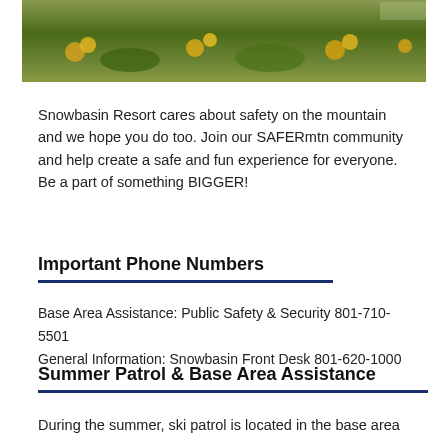[Figure (photo): Partial view of wildflowers and green foliage on a mountain landscape, cropped at the top of the page]
Snowbasin Resort cares about safety on the mountain and we hope you do too. Join our SAFERmtn community and help create a safe and fun experience for everyone. Be a part of something BIGGER!
Important Phone Numbers
Base Area Assistance: Public Safety & Security 801-710-5501
General Information: Snowbasin Front Desk 801-620-1000
Summer Patrol & Base Area Assistance
During the summer, ski patrol is located in the base area